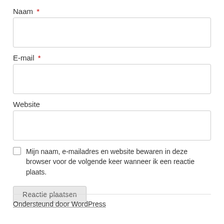Naam *
[Figure (other): Empty text input field for Naam]
E-mail *
[Figure (other): Empty text input field for E-mail]
Website
[Figure (other): Empty text input field for Website]
Mijn naam, e-mailadres en website bewaren in deze browser voor de volgende keer wanneer ik een reactie plaats.
Reactie plaatsen
Ondersteund door WordPress